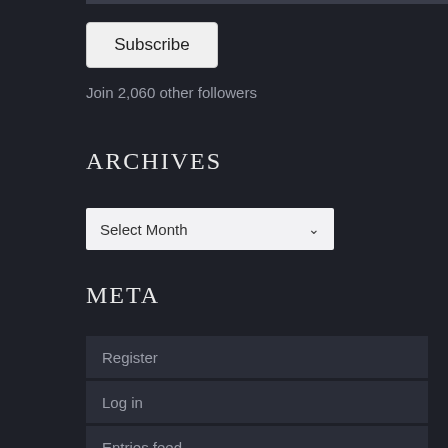Subscribe
Join 2,060 other followers
ARCHIVES
Select Month
META
Register
Log in
Entries feed